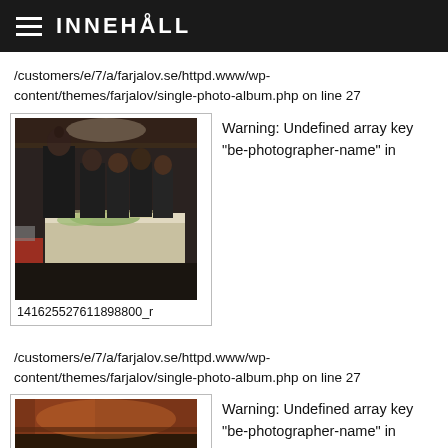INNEHÅLL
/customers/e/7/a/farjalov.se/httpd.www/wp-content/themes/farjalov/single-photo-album.php on line 27
[Figure (photo): People serving food at a buffet table in a dark room, all dressed in black]
141625527611898800_r
Warning: Undefined array key "be-photographer-name" in
/customers/e/7/a/farjalov.se/httpd.www/wp-content/themes/farjalov/single-photo-album.php on line 27
[Figure (photo): Interior room photo, warm reddish lighting visible]
Warning: Undefined array key "be-photographer-name" in